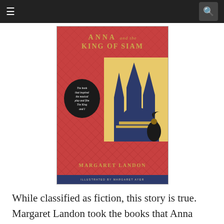Navigation bar with menu and search icons
[Figure (illustration): Book cover of 'Anna and the King of Siam' by Margaret Landon, illustrated by Margaret Ayer. Red patterned cover with gold title text, illustration of Siamese temple spires and a woman in Victorian dress, black oval badge reading 'The book that inspired the musical play and film The King and I', and author name in gold capital letters with blue illustrator bar at bottom.]
While classified as fiction, this story is true. Margaret Landon took the books that Anna